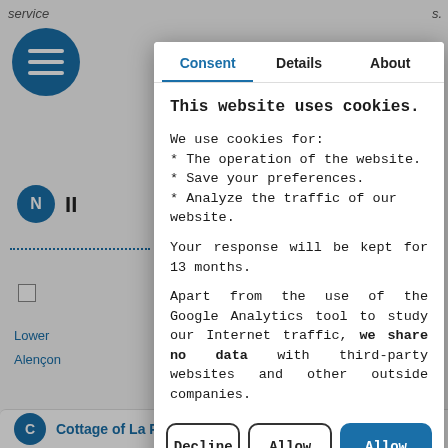[Figure (screenshot): Website background showing partial hotel listing page with navigation elements, dotted dividers, checkbox, links, and partial text content]
This website uses cookies.
We use cookies for:
* The operation of the website.
* Save your preferences.
* Analyze the traffic of our website.
Your response will be kept for 13 months.
Apart from the use of the Google Analytics tool to study our Internet traffic, we share no data with third-party websites and other outside companies.
Decline | Allow selection | Allow everything